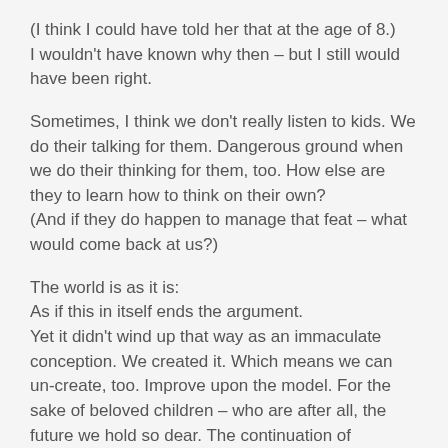(I think I could have told her that at the age of 8.) I wouldn't have known why then – but I still would have been right.
Sometimes, I think we don't really listen to kids. We do their talking for them. Dangerous ground when we do their thinking for them, too. How else are they to learn how to think on their own?
(And if they do happen to manage that feat – what would come back at us?)
The world is as it is:
As if this in itself ends the argument.
Yet it didn't wind up that way as an immaculate conception. We created it. Which means we can un-create, too. Improve upon the model. For the sake of beloved children – who are after all, the future we hold so dear. The continuation of ourselves. A public act of will works wonders. So we used to believe. That act of moral outrage, rising with contempt against stupidity and wrong thinking. We haven't really forgotten how to do this.
But as long as the bullies keep picking on individual families...